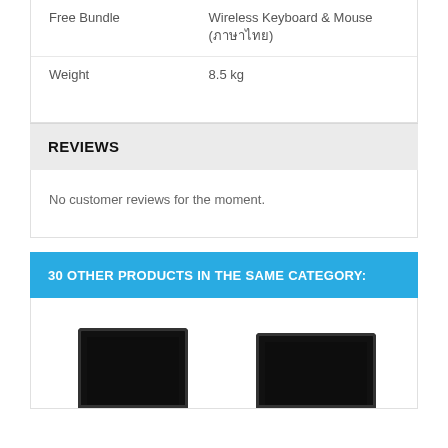|  |  |
| --- | --- |
| Free Bundle | Wireless Keyboard & Mouse (ภาษาไทย) |
| Weight | 8.5 kg |
REVIEWS
No customer reviews for the moment.
30 OTHER PRODUCTS IN THE SAME CATEGORY:
[Figure (photo): Two black computer monitors shown from the front against white background]